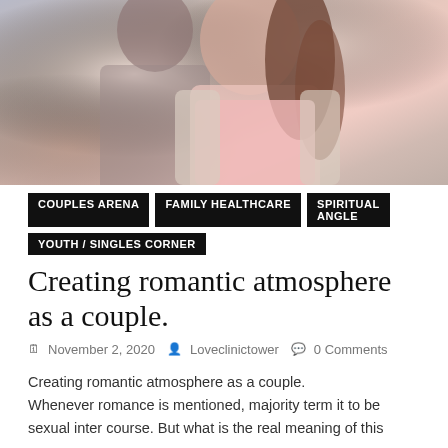[Figure (photo): A couple embracing outdoors; woman in pink top with pearl necklace and long brown hair, man in white shirt behind her]
COUPLES ARENA
FAMILY HEALTHCARE
SPIRITUAL ANGLE
YOUTH / SINGLES CORNER
Creating romantic atmosphere as a couple.
November 2, 2020   Loveclinictower   0 Comments
Creating romantic atmosphere as a couple. Whenever romance is mentioned, majority term it to be sexual inter course. But what is the real meaning of this